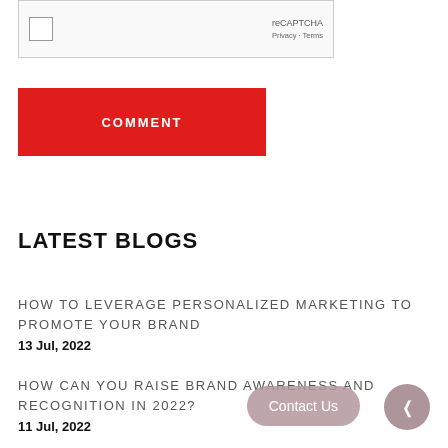[Figure (screenshot): reCAPTCHA widget with checkbox and Privacy/Terms links]
COMMENT
LATEST BLOGS
HOW TO LEVERAGE PERSONALIZED MARKETING TO PROMOTE YOUR BRAND
13 Jul, 2022
HOW CAN YOU RAISE BRAND AWARENESS AND RECOGNITION IN 2022?
11 Jul, 2022
Contact Us